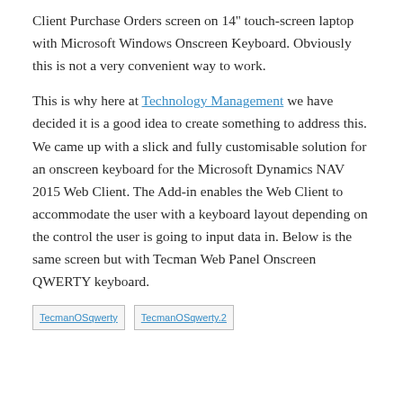Client Purchase Orders screen on 14'' touch-screen laptop with Microsoft Windows Onscreen Keyboard. Obviously this is not a very convenient way to work.
This is why here at Technology Management we have decided it is a good idea to create something to address this. We came up with a slick and fully customisable solution for an onscreen keyboard for the Microsoft Dynamics NAV 2015 Web Client. The Add-in enables the Web Client to accommodate the user with a keyboard layout depending on the control the user is going to input data in. Below is the same screen but with Tecman Web Panel Onscreen QWERTY keyboard.
[Figure (screenshot): Two thumbnail image links labeled TecmanOSqwerty and TecmanOSqwerty.2]